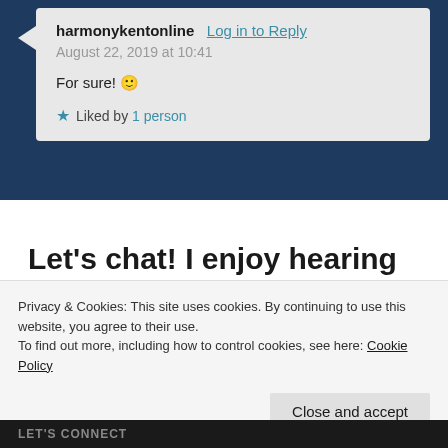harmonykentonline Log in to Reply
August 22, 2019 at 10:41

For sure! 🙂

★ Liked by 1 person
Let's chat! I enjoy hearing from you.
You must be logged in to post a comment.
Privacy & Cookies: This site uses cookies. By continuing to use this website, you agree to their use.
To find out more, including how to control cookies, see here: Cookie Policy
Close and accept
LET'S CONNECT